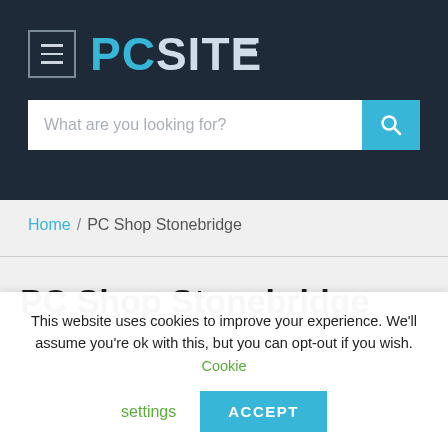[Figure (logo): PCSITE logo with hamburger menu icon on dark navy background]
What are you looking for?
Home / PC Shop Stonebridge
PC Shop Stonebridge
This website uses cookies to improve your experience. We'll assume you're ok with this, but you can opt-out if you wish. Cookie settings ACCEPT